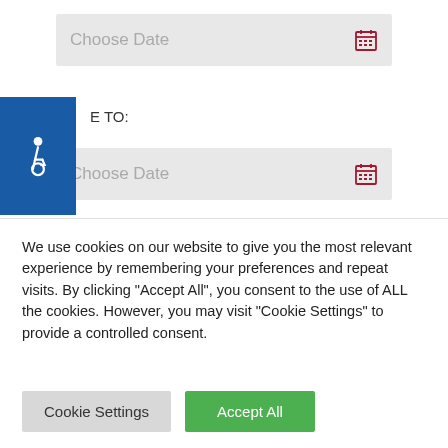Choose Date
E TO:
Choose Date
Filter
ALL EVENTS
We use cookies on our website to give you the most relevant experience by remembering your preferences and repeat visits. By clicking "Accept All", you consent to the use of ALL the cookies. However, you may visit "Cookie Settings" to provide a controlled consent.
Cookie Settings
Accept All